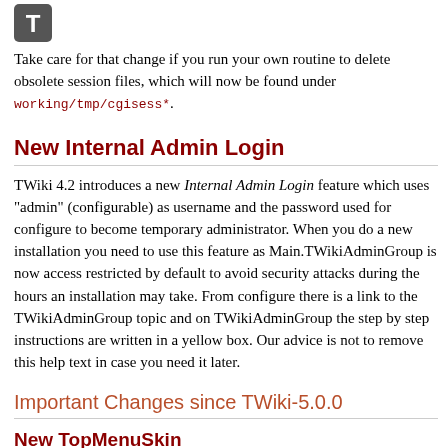[Figure (other): Grey 'T' icon/badge in top left corner]
Take care for that change if you run your own routine to delete obsolete session files, which will now be found under working/tmp/cgisess*.
New Internal Admin Login
TWiki 4.2 introduces a new Internal Admin Login feature which uses "admin" (configurable) as username and the password used for configure to become temporary administrator. When you do a new installation you need to use this feature as Main.TWikiAdminGroup is now access restricted by default to avoid security attacks during the hours an installation may take. From configure there is a link to the TWikiAdminGroup topic and on TWikiAdminGroup the step by step instructions are written in a yellow box. Our advice is not to remove this help text in case you need it later.
Important Changes since TWiki-5.0.0
New TopMenuSkin